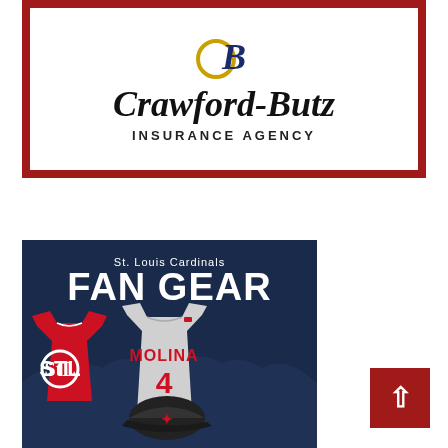[Figure (logo): Crawford-Butz Insurance Agency logo with decorative 'B' monogram, company name in italic serif font, and 'INSURANCE AGENCY' in bold condensed caps. Framed in a dark red/maroon border.]
[Figure (photo): St. Louis Cardinals Fan Gear advertisement showing a red Cardinals t-shirt with the STL logo, a gray Molina #4 jersey, and a Cardinals baseball cap on a dark navy background. Text reads 'St. Louis Cardinals FAN GEAR'.]